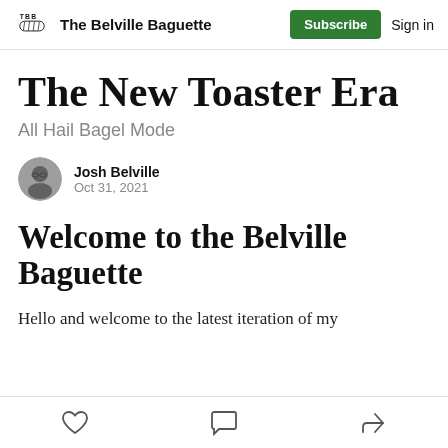The Belville Baguette | Subscribe | Sign in
The New Toaster Era
All Hail Bagel Mode
Josh Belville
Oct 31, 2021
Welcome to the Belville Baguette
Hello and welcome to the latest iteration of my